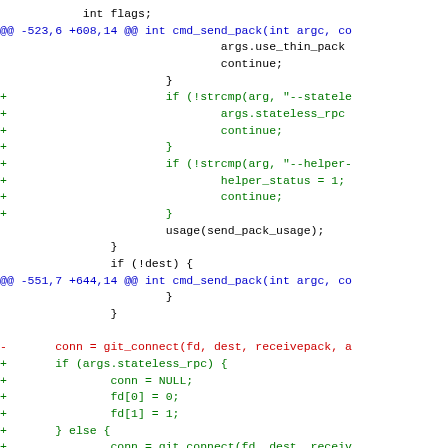[Figure (screenshot): A code diff showing changes to a C source file. Lines show context (black), removed lines (red, prefixed with -), and added lines (green, prefixed with +). Hunk headers are shown in blue. The diff includes changes to cmd_send_pack function handling stateless_rpc, helper_status, and git_connect arguments.]